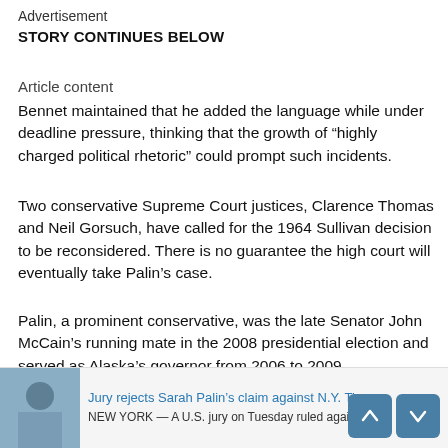Advertisement
STORY CONTINUES BELOW
Article content
Bennet maintained that he added the language while under deadline pressure, thinking that the growth of “highly charged political rhetoric” could prompt such incidents.
Two conservative Supreme Court justices, Clarence Thomas and Neil Gorsuch, have called for the 1964 Sullivan decision to be reconsidered. There is no guarantee the high court will eventually take Palin’s case.
Palin, a prominent conservative, was the late Senator John McCain’s running mate in the 2008 presidential election and served as Alaska’s governor from 2006 to 2009.
She said the Times editorial left her feeling “powerless” and “mortified,” but during her testimony did not offer specific examples about how it hurt her reputation or caused her harm.
Jury rejects Sarah Palin’s claim against N.Y. Times
NEW YORK — A U.S. jury on Tuesday ruled against